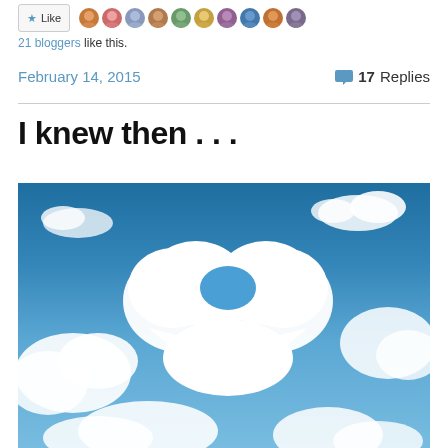21 bloggers like this.
February 14, 2015   17 Replies
I knew then . . .
[Figure (photo): Blue sky photograph with large puffy white clouds, including a prominent cloud formation that resembles a heart shape in the center.]